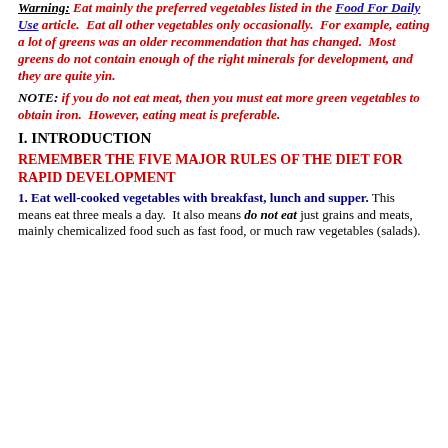Warning: Eat mainly the preferred vegetables listed in the Food For Daily Use article. Eat all other vegetables only occasionally. For example, eating a lot of greens was an older recommendation that has changed. Most greens do not contain enough of the right minerals for development, and they are quite yin.
NOTE: if you do not eat meat, then you must eat more green vegetables to obtain iron. However, eating meat is preferable.
I. INTRODUCTION
REMEMBER THE FIVE MAJOR RULES OF THE DIET FOR RAPID DEVELOPMENT
1. Eat well-cooked vegetables with breakfast, lunch and supper. This means eat three meals a day. It also means do not eat just grains and meats, mainly chemicalized food such as fast food, or much raw vegetables (salads).